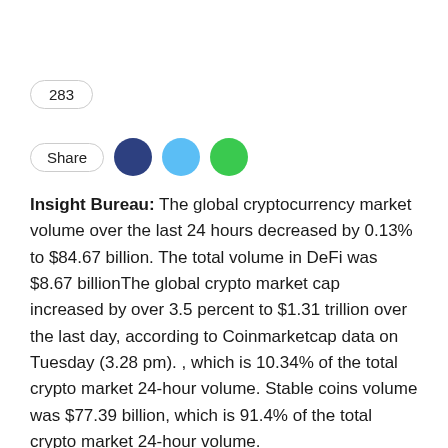283
Share
Insight Bureau: The global cryptocurrency market volume over the last 24 hours decreased by 0.13% to $84.67 billion. The total volume in DeFi was $8.67 billionThe global crypto market cap increased by over 3.5 percent to $1.31 trillion over the last day, according to Coinmarketcap data on Tuesday (3.28 pm). , which is 10.34% of the total crypto market 24-hour volume. Stable coins volume was $77.39 billion, which is 91.4% of the total crypto market 24-hour volume.
Bitcoin price touched the $30,607 mark, rising by over 3 percent in the last 24 hours.. It had fallen below $30,000 amid a